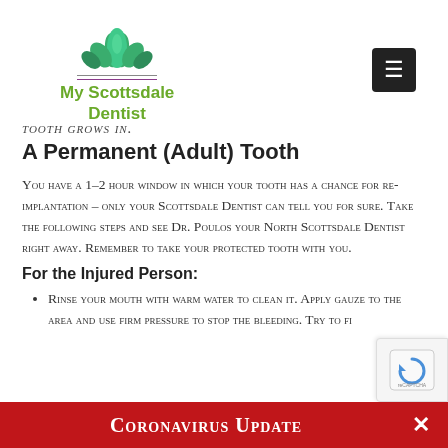[Figure (logo): My Scottsdale Dentist logo with green lotus flower and text]
TOOTH GROWS IN.
A Permanent (Adult) Tooth
You have a 1-2 hour window in which your tooth has a chance for re-implantation – only your Scottsdale Dentist can tell you for sure. Take the following steps and see Dr. Poulos your North Scottsdale Dentist right away. Remember to take your protected tooth with you.
For the Injured Person:
Rinse your mouth with warm water to clean it. Apply gauze to the area and use firm pressure to stop the bleeding. Try to fi...
Coronavirus Update